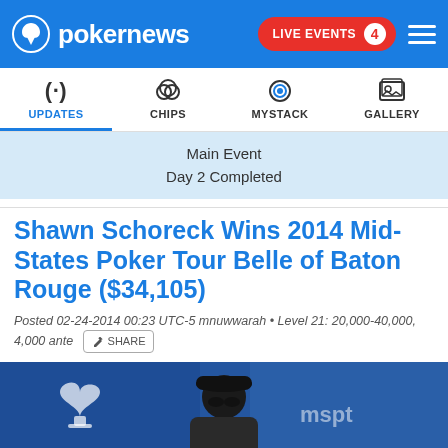pokernews | LIVE EVENTS 4
[Figure (infographic): Navigation bar with icons for UPDATES (radio waves), CHIPS (poker chips), MYSTACK (target), GALLERY (image frame). UPDATES is selected/active in blue.]
Main Event
Day 2 Completed
Shawn Schoreck Wins 2014 Mid-States Poker Tour Belle of Baton Rouge ($34,105)
Posted 02-24-2014 00:23 UTC-5 mnuwwarah • Level 21: 20,000-40,000, 4,000 ante [SHARE]
[Figure (photo): Photo of a man wearing a black cap and sunglasses standing in front of a blue banner with poker spade logo and MSPT branding.]